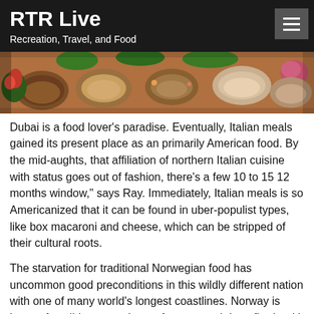RTR Live
Recreation, Travel, and Food
[Figure (photo): Overhead photo of various food dishes in bowls and on leaves with colorful garnishes]
Dubai is a food lover’s paradise. Eventually, Italian meals gained its present place as an primarily American food. By the mid-aughts, that affiliation of northern Italian cuisine with status goes out of fashion, there’s a few 10 to 15 12 months window,” says Ray. Immediately, Italian meals is so Americanized that it can be found in uber-populist types, like box macaroni and cheese, which can be stripped of their cultural roots.
The starvation for traditional Norwegian food has uncommon good preconditions in this wildly different nation with one of many world’s longest coastlines. Norway is known for wild nature, plenty of space, and deep fjords with chilly, clean water.